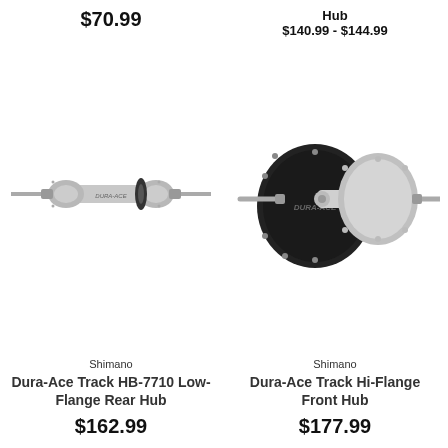$70.99
Hub
$140.99 - $144.99
[Figure (photo): Shimano Dura-Ace Track HB-7710 Low-Flange Rear Hub - silver bicycle hub with axle and flanges]
[Figure (photo): Shimano Dura-Ace Track Hi-Flange Front Hub - silver bicycle hub with large black flange]
Shimano
Dura-Ace Track HB-7710 Low-Flange Rear Hub
$162.99
Shimano
Dura-Ace Track Hi-Flange Front Hub
$177.99